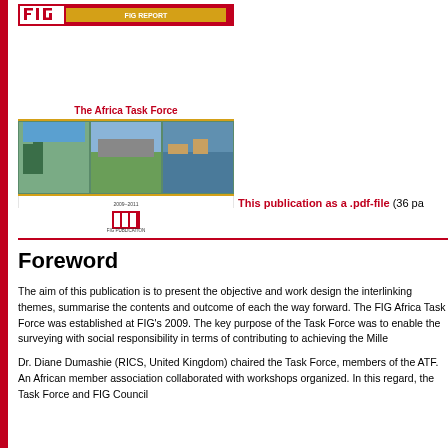[Figure (illustration): Cover image of FIG Report publication titled 'The Africa Task Force' showing three landscape photos of Africa and FIG logo]
This publication as a .pdf-file (36 pa
Foreword
The aim of this publication is to present the objective and work design the interlinking themes, summarise the contents and outcome of each the way forward. The FIG Africa Task Force was established at FIG's 2009. The key purpose of the Task Force was to enable the surveying with social responsibility in terms of contributing to achieving the Mille
Dr. Diane Dumashie (RICS, United Kingdom) chaired the Task Force, members of the ATF. An African member association collaborated with workshops organized. In this regard, the Task Force and FIG Council